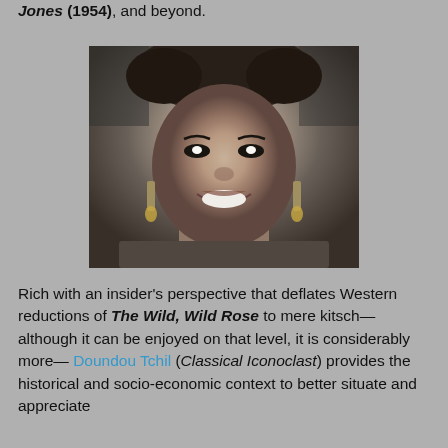Jones (1954), and beyond.
[Figure (photo): Black and white portrait photograph of a smiling woman with dark hair and dangling earrings]
Rich with an insider's perspective that deflates Western reductions of The Wild, Wild Rose to mere kitsch—although it can be enjoyed on that level, it is considerably more—Doundou Tchil (Classical Iconoclast) provides the historical and socio-economic context to better situate and appreciate